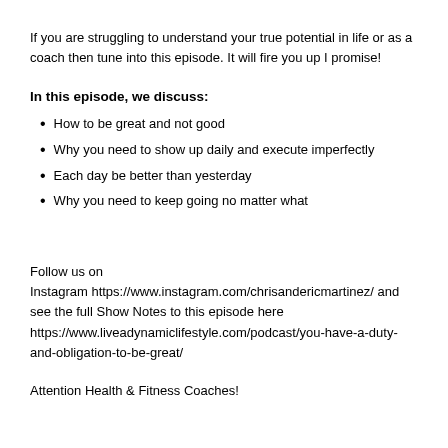If you are struggling to understand your true potential in life or as a coach then tune into this episode. It will fire you up I promise!
In this episode, we discuss:
How to be great and not good
Why you need to show up daily and execute imperfectly
Each day be better than yesterday
Why you need to keep going no matter what
Follow us on
Instagram https://www.instagram.com/chrisandericmartinez/ and see the full Show Notes to this episode here
https://www.liveadynamiclifestyle.com/podcast/you-have-a-duty-and-obligation-to-be-great/
Attention Health & Fitness Coaches!